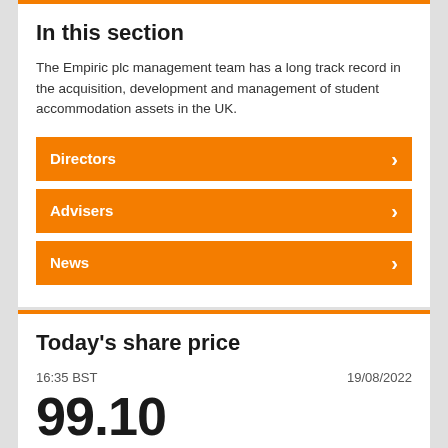In this section
The Empiric plc management team has a long track record in the acquisition, development and management of student accommodation assets in the UK.
Directors
Advisers
News
Today's share price
16:35 BST
19/08/2022
99.10